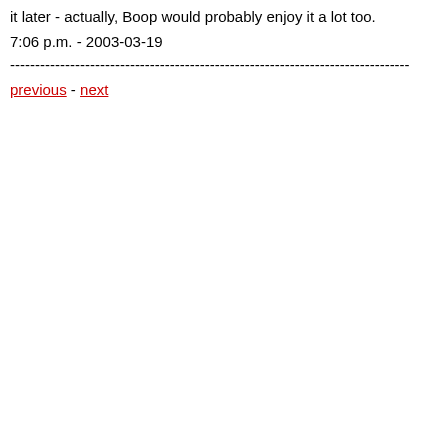it later - actually, Boop would probably enjoy it a lot too.
7:06 p.m. - 2003-03-19
--------------------------------------------------------------------------------
previous - next